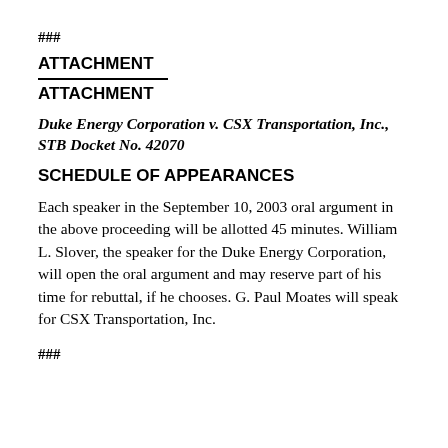###
ATTACHMENT
ATTACHMENT
Duke Energy Corporation v. CSX Transportation, Inc., STB Docket No. 42070
SCHEDULE OF APPEARANCES
Each speaker in the September 10, 2003 oral argument in the above proceeding will be allotted 45 minutes. William L. Slover, the speaker for the Duke Energy Corporation, will open the oral argument and may reserve part of his time for rebuttal, if he chooses. G. Paul Moates will speak for CSX Transportation, Inc.
###